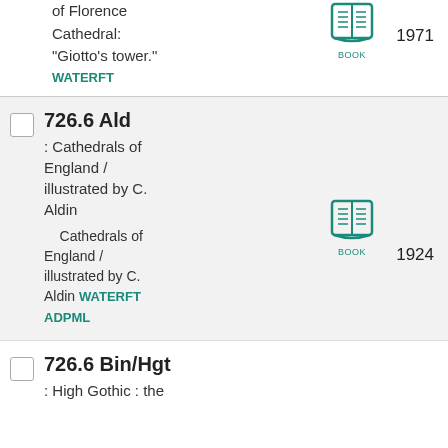The Campanile of Florence Cathedral: "Giotto's tower."
WATERFT
1971
726.6 Ald
: Cathedrals of England / illustrated by C. Aldin
Cathedrals of England / illustrated by C. Aldin WATERFT
ADPML
1924
726.6 Bin/Hgt
: High Gothic : the